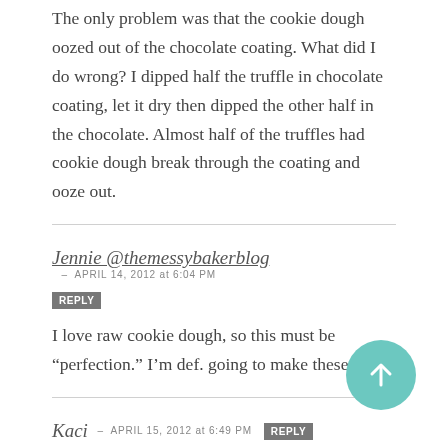The only problem was that the cookie dough oozed out of the chocolate coating. What did I do wrong? I dipped half the truffle in chocolate coating, let it dry then dipped the other half in the chocolate. Almost half of the truffles had cookie dough break through the coating and ooze out.
Jennie @themessybakerblog – APRIL 14, 2012 at 6:04 PM REPLY
I love raw cookie dough, so this must be “perfection.” I’m def. going to make these.
Kaci – APRIL 15, 2012 at 6:49 PM REPLY
Hi! I want to make this today and even went and bought